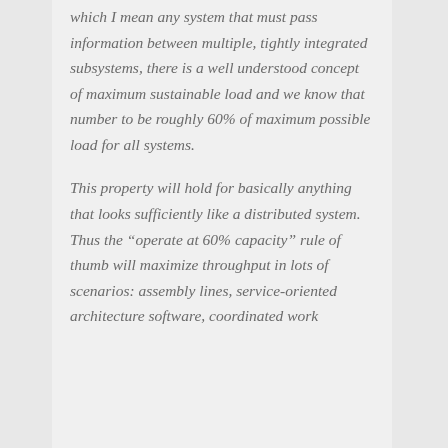which I mean any system that must pass information between multiple, tightly integrated subsystems, there is a well understood concept of maximum sustainable load and we know that number to be roughly 60% of maximum possible load for all systems.
This property will hold for basically anything that looks sufficiently like a distributed system. Thus the “operate at 60% capacity” rule of thumb will maximize throughput in lots of scenarios: assembly lines, service-oriented architecture software, coordinated work